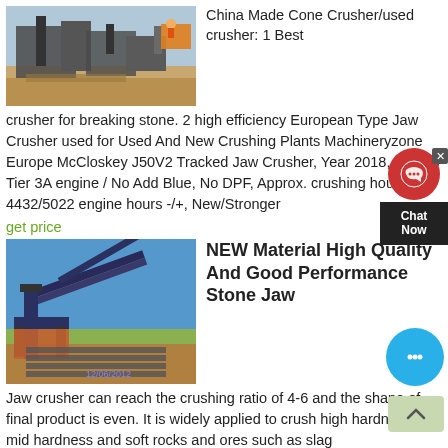[Figure (photo): Construction/mining site with machinery and workers visible]
China Made Cone Crusher/used crusher: 1 Best crusher for breaking stone. 2 high efficiency European Type Jaw Crusher used for Used And New Crushing Plants Machineryzone Europe McCloskey J50V2 Tracked Jaw Crusher, Year 2018, C C9.3 Tier 3A engine / No Add Blue, No DPF, Approx. crushing hours 4432/5022 engine hours -/+, New/Stronger
get price
[Figure (photo): Outdoor industrial stone crushing/screening plant with conveyor belts, dated 12/06/2012]
NEW Material High Quality And Good Performance Stone Jaw
Jaw crusher can reach the crushing ratio of 4-6 and the shape of final product is even. It is widely applied to crush high hardness, mid hardness and soft rocks and ores such as slag